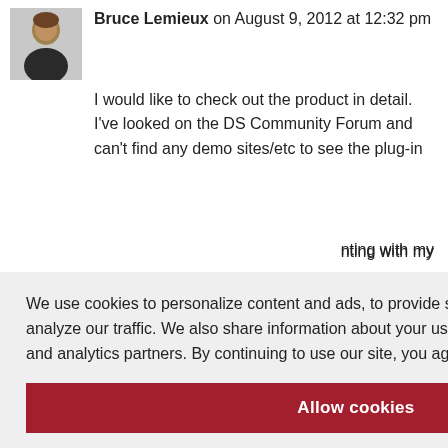Bruce Lemieux on August 9, 2012 at 12:32 pm
I would like to check out the product in detail. I've looked on the DS Community Forum and can't find any demo sites/etc to see the plug-in [continuing with my ...] [... ve go to see a ...]
Reply
[2 at 1:04 pm]
[...] a free trial [... ut on my blog,] [... the trial does] [... is just labeled] [... ike to see a] working site as well but the customer
We use cookies to personalize content and ads, to provide social media features and to analyze our traffic. We also share information about your use of our site with our advertising and analytics partners. By continuing to use our site, you agree to our "Privacy Policy".
Allow cookies
Dismiss
Cookie Preferences